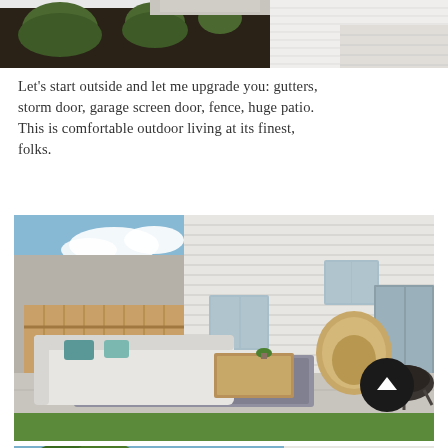[Figure (photo): Top portion of a house exterior showing landscaping with dark mulch, green shrubs, concrete driveway and white siding]
Let's start outside and let me upgrade you: gutters, storm door, garage screen door, fence, huge patio. This is comfortable outdoor living at its finest, folks.
[Figure (photo): Outdoor patio area with white sectional sofa with teal pillows, wicker egg chair, wooden coffee table, fire pit, on concrete patio against white house siding with wooden fence visible]
[Figure (photo): Partial view of house exterior with blue sky and trees visible at bottom of page]